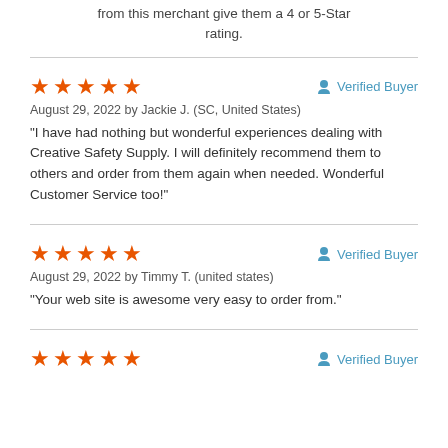from this merchant give them a 4 or 5-Star rating.
★★★★★  Verified Buyer
August 29, 2022 by Jackie J. (SC, United States)
"I have had nothing but wonderful experiences dealing with Creative Safety Supply. I will definitely recommend them to others and order from them again when needed. Wonderful Customer Service too!"
★★★★★  Verified Buyer
August 29, 2022 by Timmy T. (united states)
"Your web site is awesome very easy to order from."
★★★★★  Verified Buyer